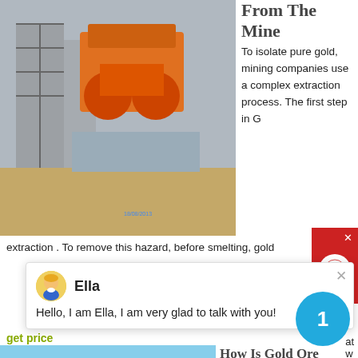[Figure (photo): Mining machinery/crusher equipment at a construction or mining site with scaffolding and orange machinery visible. Watermark date '18/08/2013' in blue.]
From The Mine
To isolate pure gold, mining companies use a complex extraction process. The first step in G extraction . To remove this hazard, before smelting, gold
[Figure (screenshot): Chat popup with avatar of Ella (cartoon woman with blonde hair). Name: Ella. Message: Hello, I am Ella, I am very glad to talk with you!]
get price
[Figure (photo): Industrial grinding/milling machinery (Raymond mill or similar) with pipes and dust collector in a factory yard with blue sky and red-roofed building.]
How Is Gold Ore Removed From The Mine
When the gold ore beneficiation temperature is greater than 75